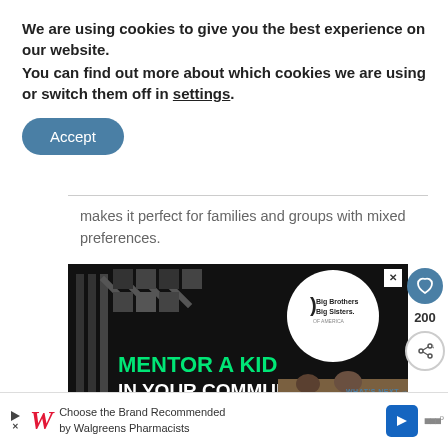We are using cookies to give you the best experience on our website.
You can find out more about which cookies we are using or switch them off in settings.
Accept
makes it perfect for families and groups with mixed preferences.
[Figure (advertisement): Big Brothers Big Sisters of America advertisement with text 'MENTOR A KID IN YOUR COMMUNITY.' and a Learn How button on black background with green geometric pattern]
[Figure (advertisement): Bottom banner ad: Choose the Brand Recommended by Walgreens Pharmacists]